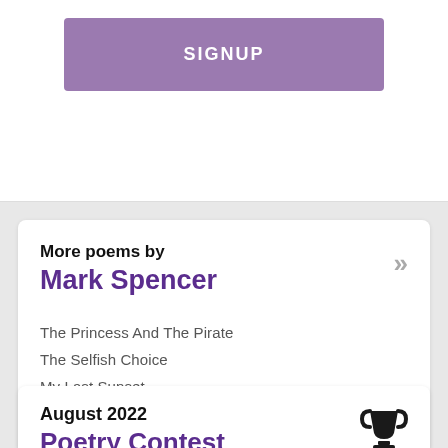SIGNUP
More poems by Mark Spencer
The Princess And The Pirate
The Selfish Choice
My Last Sunset
Strong Legs
The Zombie Knight
August 2022
Poetry Contest